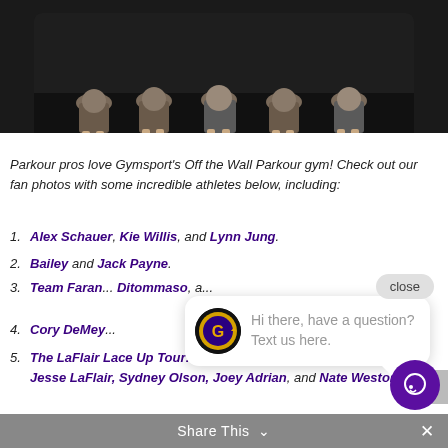[Figure (photo): Group of young athletes/children sitting on a dark gym floor, cropped photo showing their lower bodies and legs]
Parkour pros love Gymsport's Off the Wall Parkour gym! Check out our fan photos with some incredible athletes below, including:
1. Alex Schauer, Kie Willis, and Lynn Jung.
2. Bailey and Jack Payne.
3. Team Faran... Ditommaso, a...
4. Cory DeMey...
5. The LaFlair Lace Up Tour: Mich Todorovic, Erik Mukhametshin, Jesse LaFlair, Sydney Olson, Joey Adrian, and Nate Weston.
[Figure (screenshot): Chat widget overlay showing a circular logo with G and text: Hi there, have a question? Text us here.]
Share This